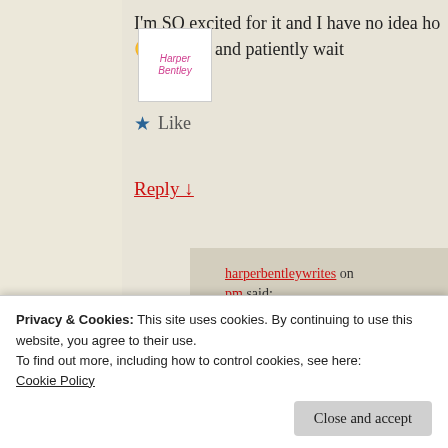I'm SO excited for it and I have no idea ho 😀 around and patiently wait
★ Like
Reply ↓
harperbentleywrites on pm said: Hi Annie! Aw! I'm glad SP has stuck with y
Privacy & Cookies: This site uses cookies. By continuing to use this website, you agree to their use. To find out more, including how to control cookies, see here: Cookie Policy
Close and accept